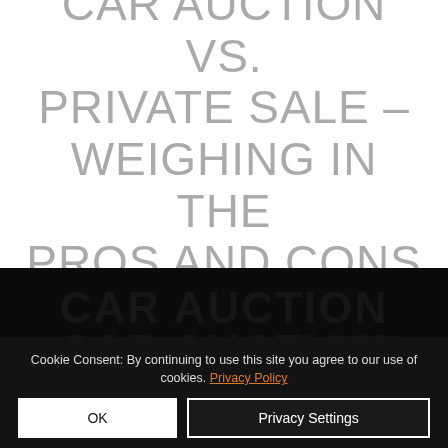CAR AUCTION VS. PRIVATE SALE – WEIGHING IN THE PROS AND CONS
[Figure (photo): Dark background image showing cars at a car auction event with overlapping text 'CAR AUCTION' visible in large letters]
Cookie Consent: By continuing to use this site you agree to our use of cookies. Privacy Policy
OK
Privacy Settings